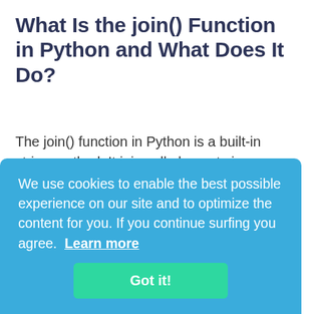What Is the join() Function in Python and What Does It Do?
The join() function in Python is a built-in string method. It joins all elements in an iterable with a given string separator into one string. It returns a string with all the elements joined with the desired separator. Please note that the desired separator can only be of the type string. Also, the elements inside
We use cookies to enable the best possible experience on our site and to optimize the content for you. If you continue surfing you agree.  Learn more